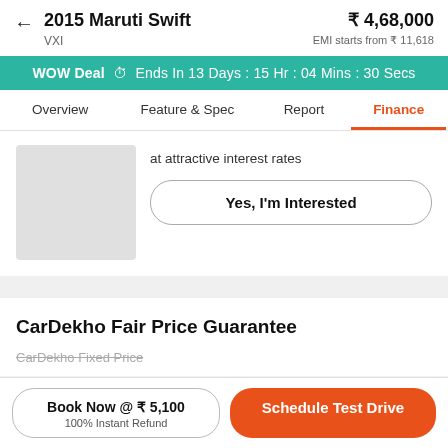2015 Maruti Swift VXI  ₹ 4,68,000  EMI starts from ₹ 11,618
WOW Deal  ⏱  Ends In 13 Days : 15 Hr : 04 Mins : 30 Secs
Overview   Feature & Spec   Report   Finance
at attractive interest rates
Yes, I'm Interested
CarDekho Fair Price Guarantee
CarDekho Fixed Price
Book Now @ ₹ 5,100
100% Instant Refund
Schedule Test Drive